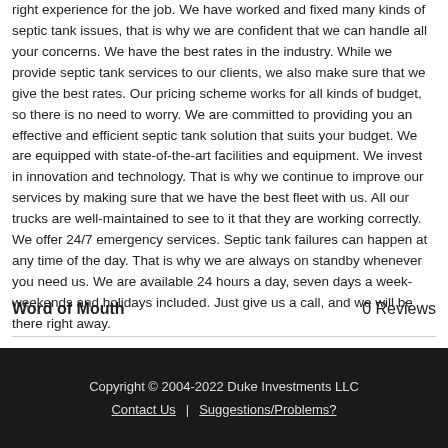right experience for the job. We have worked and fixed many kinds of septic tank issues, that is why we are confident that we can handle all your concerns. We have the best rates in the industry. While we provide septic tank services to our clients, we also make sure that we give the best rates. Our pricing scheme works for all kinds of budget, so there is no need to worry. We are committed to providing you an effective and efficient septic tank solution that suits your budget. We are equipped with state-of-the-art facilities and equipment. We invest in innovation and technology. That is why we continue to improve our services by making sure that we have the best fleet with us. All our trucks are well-maintained to see to it that they are working correctly. We offer 24/7 emergency services. Septic tank failures can happen at any time of the day. That is why we are always on standby whenever you need us. We are available 24 hours a day, seven days a week- weekends and holidays included. Just give us a call, and we will be there right away.
Word of Mouth
0 Reviews
Copyright © 2004-2022 Duke Investments LLC | Contact Us | Suggestions/Problems?